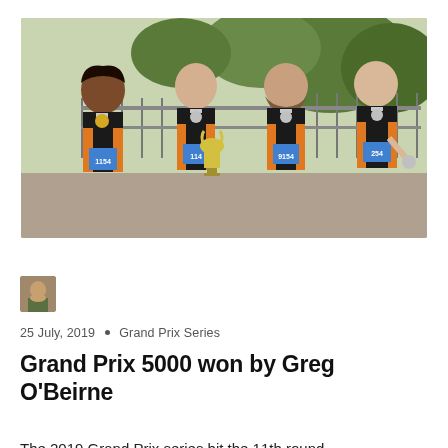[Figure (photo): Four male runners wearing black and orange athletic vests with race numbers (1154 and 154), medals, and holding a trophy cup, posing together outdoors in front of a fence with trees in background.]
[Figure (photo): Small square avatar/profile photo of a person outdoors.]
25 July, 2019 • Grand Prix Series
Grand Prix 5000 won by Greg O'Beirne
The 2019 Grand Prix series hit the 11th round